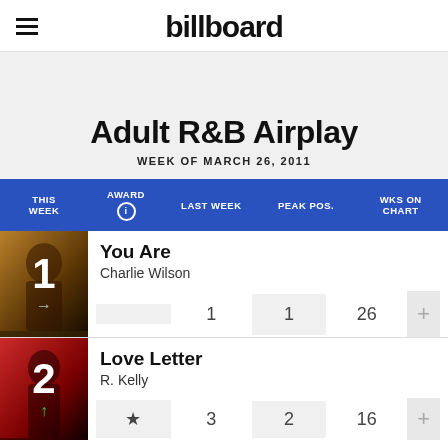billboard
Adult R&B Airplay
WEEK OF MARCH 26, 2011
| THIS WEEK | AWARD | LAST WEEK | PEAK POS. | WKS ON CHART |
| --- | --- | --- | --- | --- |
| 1 |  | 1 | 1 | 26 |
| 2 |  | 3 | 2 | 16 |
You Are
Charlie Wilson
Love Letter
R. Kelly